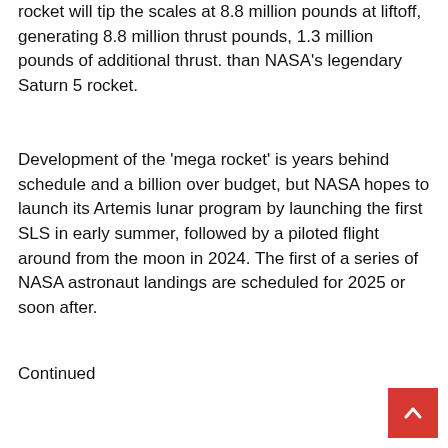rocket will tip the scales at 8.8 million pounds at liftoff, generating 8.8 million thrust pounds, 1.3 million pounds of additional thrust. than NASA's legendary Saturn 5 rocket.
Development of the 'mega rocket' is years behind schedule and a billion over budget, but NASA hopes to launch its Artemis lunar program by launching the first SLS in early summer, followed by a piloted flight around from the moon in 2024. The first of a series of NASA astronaut landings are scheduled for 2025 or soon after.
Continued